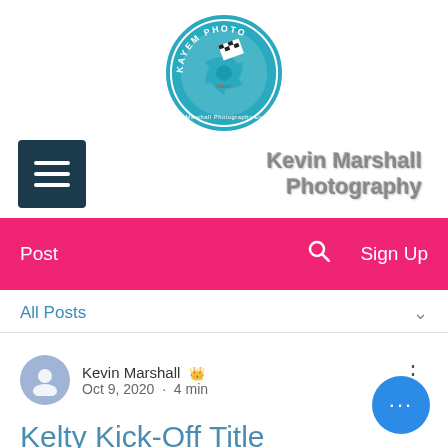[Figure (logo): Kayem Photo circular logo in teal/blue with a camera aperture and checkered flag design, text 'KAYEM PHOTO' around the circle, 'Kevin Marshall Photography Est 2017' at bottom]
[Figure (other): Dark teal hamburger/menu icon button (three horizontal lines) on left, and 'Kevin Marshall Photography' site title text on right in gray bold font]
Post   🔍   Sign Up
All Posts
Kevin Marshall 👑
Oct 9, 2020 · 4 min
Kelty Kick-Off Title Defence In Style